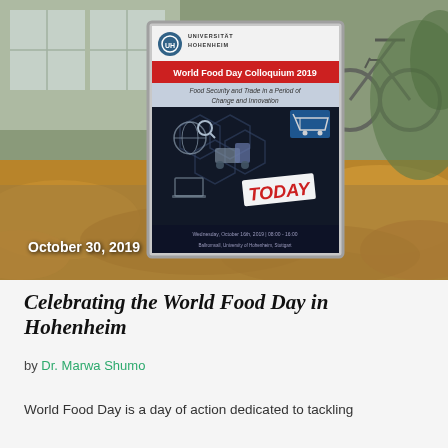[Figure (photo): Outdoor photograph showing a promotional sign/poster board for the World Food Day Colloquium 2019 at Universität Hohenheim, with autumn leaves on the ground and a bicycle visible in the background. The sign reads 'World Food Day Colloquium 2019 - Food Security and Trade in a Period of Change and Innovation' with TODAY sticker. Date overlay: October 30, 2019.]
Celebrating the World Food Day in Hohenheim
by Dr. Marwa Shumo
World Food Day is a day of action dedicated to tackling